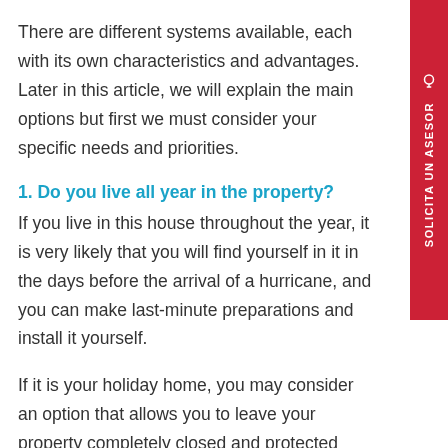There are different systems available, each with its own characteristics and advantages. Later in this article, we will explain the main options but first we must consider your specific needs and priorities.
1. Do you live all year in the property?
If you live in this house throughout the year, it is very likely that you will find yourself in it in the days before the arrival of a hurricane, and you can make last-minute preparations and install it yourself.
If it is your holiday home, you may consider an option that allows you to leave your property completely closed and protected during your absences. Or even opt for a system that can be